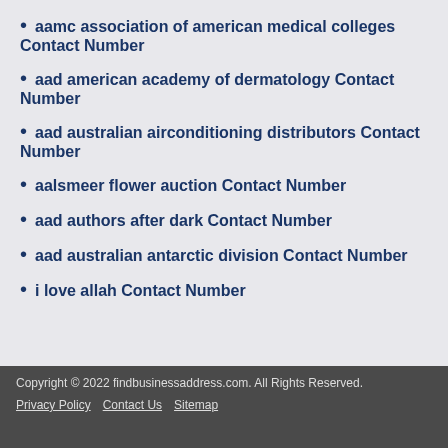aamc association of american medical colleges Contact Number
aad american academy of dermatology Contact Number
aad australian airconditioning distributors Contact Number
aalsmeer flower auction Contact Number
aad authors after dark Contact Number
aad australian antarctic division Contact Number
i love allah Contact Number
Copyright © 2022 findbusinessaddress.com. All Rights Reserved. Privacy Policy Contact Us Sitemap